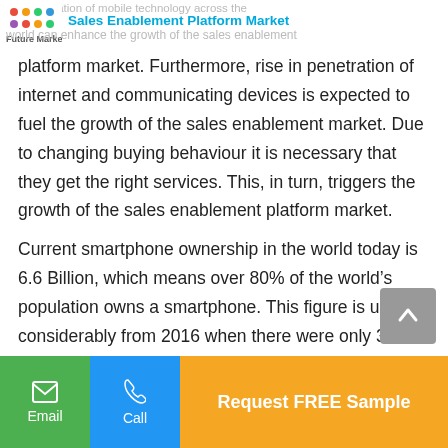Sales Enablement Platform Market
platform market. Furthermore, rise in penetration of internet and communicating devices is expected to fuel the growth of the sales enablement market. Due to changing buying behaviour it is necessary that they get the right services. This, in turn, triggers the growth of the sales enablement platform market.

Current smartphone ownership in the world today is 6.6 Billion, which means over 80% of the world's population owns a smartphone. This figure is up considerably from 2016 when there were only 3.6 Billion users, 49.40%